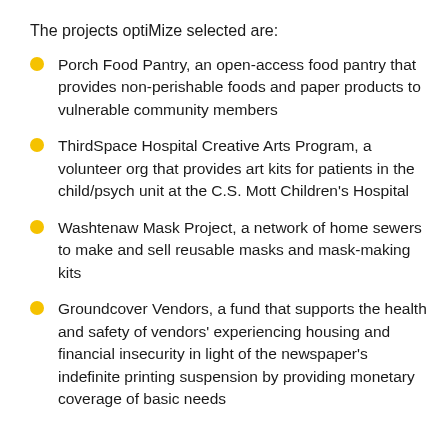The projects optiMize selected are:
Porch Food Pantry, an open-access food pantry that provides non-perishable foods and paper products to vulnerable community members
ThirdSpace Hospital Creative Arts Program, a volunteer org that provides art kits for patients in the child/psych unit at the C.S. Mott Children's Hospital
Washtenaw Mask Project, a network of home sewers to make and sell reusable masks and mask-making kits
Groundcover Vendors, a fund that supports the health and safety of vendors' experiencing housing and financial insecurity in light of the newspaper's indefinite printing suspension by providing monetary coverage of basic needs